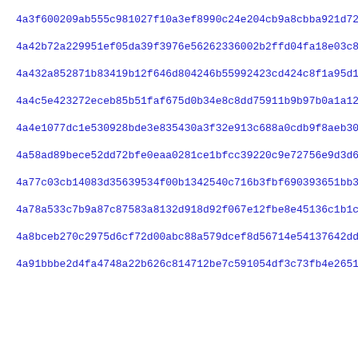4a3f600209ab555c981027f10a3ef8990c24e204cb9a8cbba921d7238612e
4a42b72a229951ef05da39f3976e56262336002b2ffd04fa18e03c87e819f
4a432a852871b83419b12f646d804246b55992423cd424c8f1a95d1538632
4a4c5e423272eceb85b51faf675d0b34e8c8dd75911b9b97b0a1a122161f0
4a4e1077dc1e530928bde3e835430a3f32e913c688a0cdb9f8aeb3040ae36
4a58ad89bece52dd72bfe0eaa0281ce1bfcc39220c9e72756e9d3d6aae55d
4a77c03cb14083d35639534f00b1342540c716b3fbf690393651bb3855aeb
4a78a533c7b9a87c87583a8132d918d92f067e12fbe8e45136c1b1c04679e
4a8bceb270c2975d6cf72d00abc88a579dcef8d56714e54137642dd09999b
4a91bbbe2d4fa4748a22b626c814712be7c591054df3c73fb4e265163f915